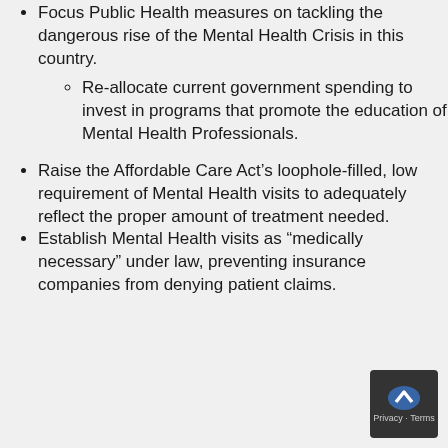Focus Public Health measures on tackling the dangerous rise of the Mental Health Crisis in this country.
Re-allocate current government spending to invest in programs that promote the education of Mental Health Professionals.
Raise the Affordable Care Act's loophole-filled, low requirement of Mental Health visits to adequately reflect the proper amount of treatment needed.
Establish Mental Health visits as “medically necessary” under law, preventing insurance companies from denying patient claims.